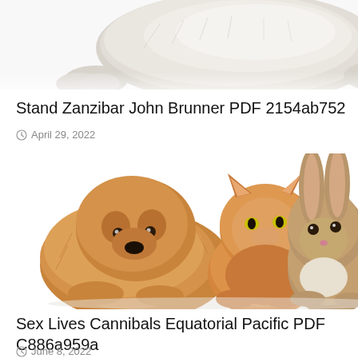[Figure (photo): Partial photo of a fluffy white/grey dog lying down, cropped at top (only paws and lower body visible), on white background]
Stand Zanzibar John Brunner PDF 2154ab752
April 29, 2022
[Figure (photo): Photo of three young animals on a white background: a fluffy golden/chow chow puppy lying down on the left, an orange Persian kitten in the center, and a brown rabbit on the right]
Sex Lives Cannibals Equatorial Pacific PDF C886a959a
June 8, 2022